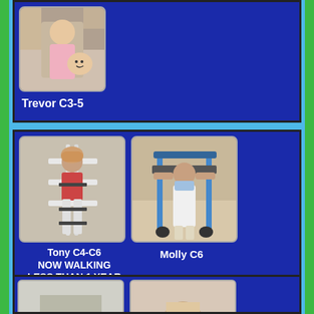[Figure (photo): Photo of Trevor in rehabilitation therapy setting, being assisted, smiling]
Trevor C3-5
[Figure (photo): Photo of Tony in robotic walking exoskeleton rehabilitation device]
[Figure (photo): Photo of Molly in standing rehabilitation frame/walker]
Tony C4-C6 NOW WALKING LESS THAN 1 YEAR AFTER INJURY
Molly C6
[Figure (photo): Partial view of two additional patient photos at bottom of page]